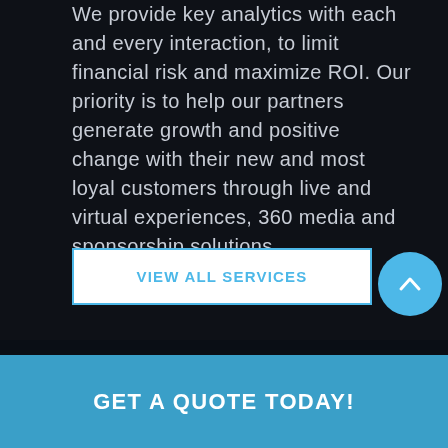We provide key analytics with each and every interaction, to limit financial risk and maximize ROI. Our priority is to help our partners generate growth and positive change with their new and most loyal customers through live and virtual experiences, 360 media and sponsorship solutions.
VIEW ALL SERVICES
GET A QUOTE TODAY!